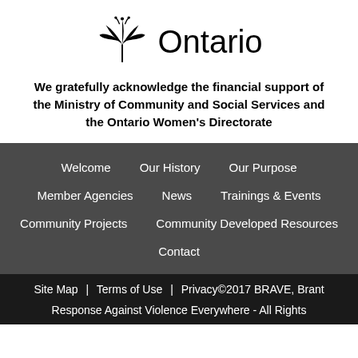[Figure (logo): Ontario government logo with trillium symbol and 'Ontario' text]
We gratefully acknowledge the financial support of the Ministry of Community and Social Services and the Ontario Women's Directorate
Welcome
Our History
Our Purpose
Member Agencies
News
Trainings & Events
Community Projects
Community Developed Resources
Contact
Site Map | Terms of Use | Privacy©2017 BRAVE, Brant Response Against Violence Everywhere - All Rights